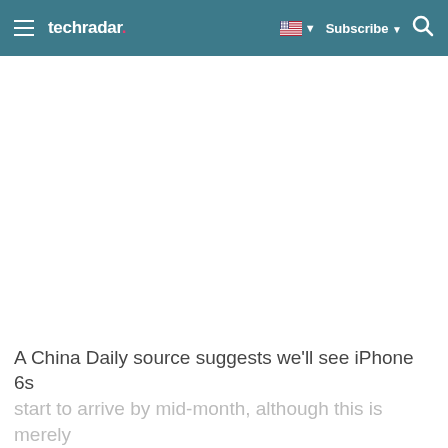techradar — Subscribe
A China Daily source suggests we'll see iPhone 6s start to arrive by mid-month, although this is merely